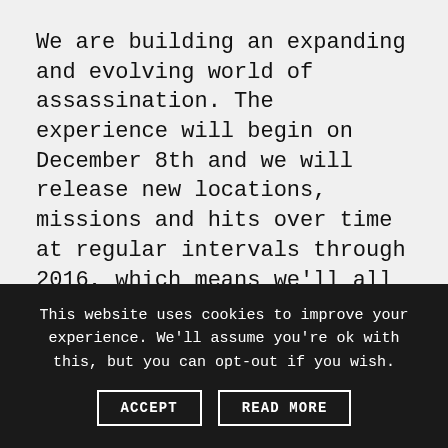We are building an expanding and evolving world of assassination. The experience will begin on December 8th and we will release new locations, missions and hits over time at regular intervals through 2016, which means we'll all be able to share in the excitement of a new content drop at the same time. Rather than unboxing a game, playing it and then that's sort of it, we want to deliver a true community experience – creating
This website uses cookies to improve your experience. We'll assume you're ok with this, but you can opt-out if you wish.
ACCEPT
READ MORE